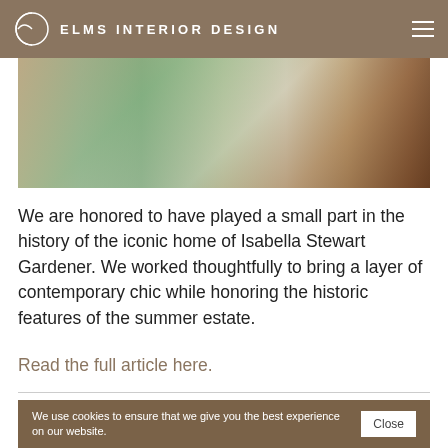ELMS INTERIOR DESIGN
[Figure (photo): Interior design photo showing elegant living room with sage green velvet chairs, a gold side table, and wooden furniture on a light wood floor.]
We are honored to have played a small part in the history of the iconic home of Isabella Stewart Gardener. We worked thoughtfully to bring a layer of contemporary chic while honoring the historic features of the summer estate.
Read the full article here.
We use cookies to ensure that we give you the best experience on our website.